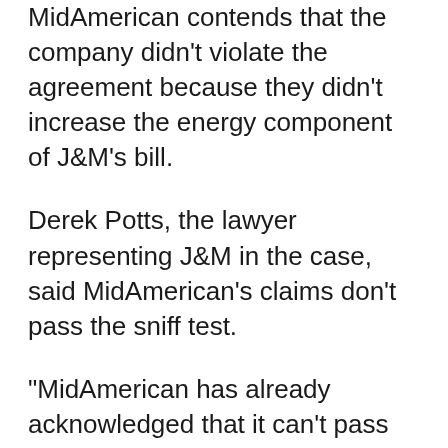MidAmerican contends that the company didn't violate the agreement because they didn't increase the energy component of J&M's bill.
Derek Potts, the lawyer representing J&M in the case, said MidAmerican's claims don't pass the sniff test.
"MidAmerican has already acknowledged that it can't pass through these same costs to their residential and small business customers, because of the Public Utility Commission's consumer protection regulations," Potts said in a